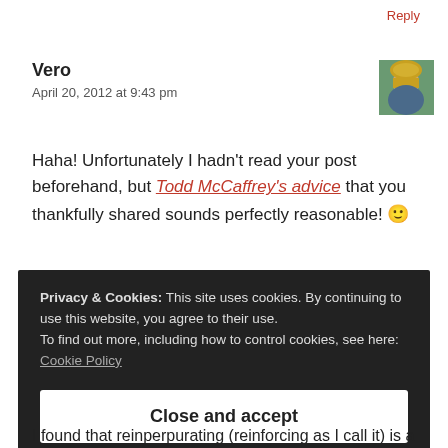Reply
Vero
April 20, 2012 at 9:43 pm
Haha! Unfortunately I hadn't read your post beforehand, but Todd McCaffrey's advice that you thankfully shared sounds perfectly reasonable! 🙂
Privacy & Cookies: This site uses cookies. By continuing to use this website, you agree to their use.
To find out more, including how to control cookies, see here:
Cookie Policy
Close and accept
I found that reinperpurating (reinforcing as I call it) is a